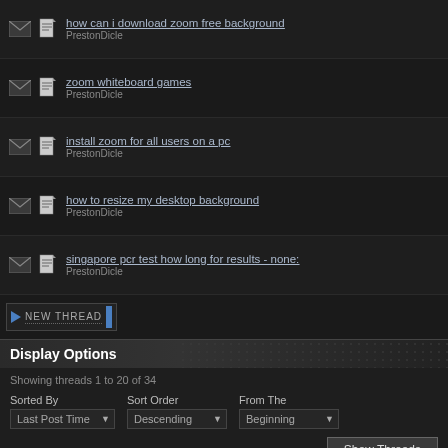how can i download zoom free background
PrestonDicle
zoom whiteboard games
PrestonDicle
install zoom for all users on a pc
PrestonDicle
how to resize my desktop background
PrestonDicle
singapore pcr test how long for results - none:
PrestonDicle
NEW THREAD
Display Options
Showing threads 1 to 20 of 34
Sorted By: Last Post Time | Sort Order: Descending | From The: Beginning
Show Threads
New posts
Hot thread with new posts
No new posts
Hot thread with no new posts
Thread is closed